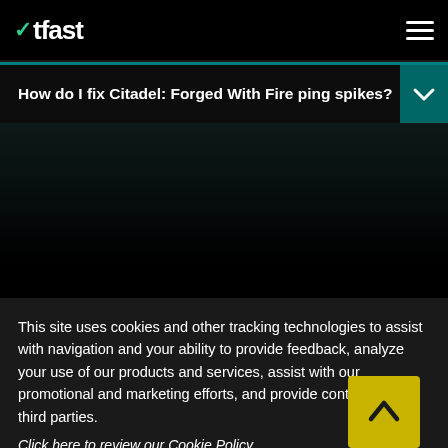WTFast
How do I fix Citadel: Forged With Fire ping spikes?
This site uses cookies and other tracking technologies to assist with navigation and your ability to provide feedback, analyze your use of our products and services, assist with our promotional and marketing efforts, and provide content from third parties.
Click here to review our Cookie Policy
ACCEPT ALL
Accept mandatory and performance